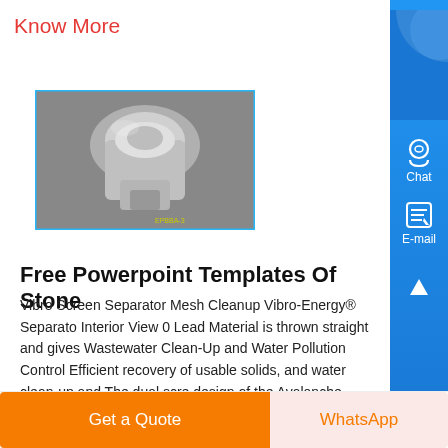Know More
[Figure (photo): Industrial vibro screen separator machine component, metallic cylindrical parts with silver/grey coloring, viewed from interior angle]
Free Powerpoint Templates Of Stone
Vibro Screen Separator Mesh Cleanup Vibro-Energy® Separator Interior View 0 Lead Material is thrown straight and gives Wastewater Clean-Up and Water Pollution Control Efficient recovery of usable solids, and water clean-up and The dual scre design of the Avalanche separator effectively increases active screen area by up to 67...
Get a Quote
WhatsApp